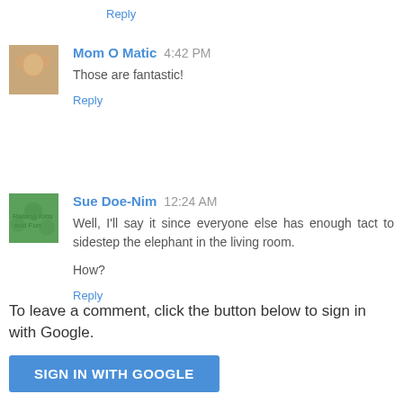Reply
Mom O Matic  4:42 PM
Those are fantastic!
Reply
Sue Doe-Nim  12:24 AM
Well, I'll say it since everyone else has enough tact to sidestep the elephant in the living room.

How?
Reply
To leave a comment, click the button below to sign in with Google.
SIGN IN WITH GOOGLE